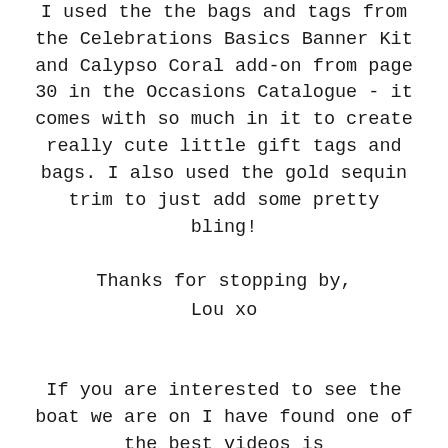I used the the bags and tags from the Celebrations Basics Banner Kit and Calypso Coral add-on from page 30 in the Occasions Catalogue - it comes with so much in it to create really cute little gift tags and bags. I also used the gold sequin trim to just add some pretty bling!
Thanks for stopping by,
Lou xo
If you are interested to see the boat we are on I have found one of the best videos is